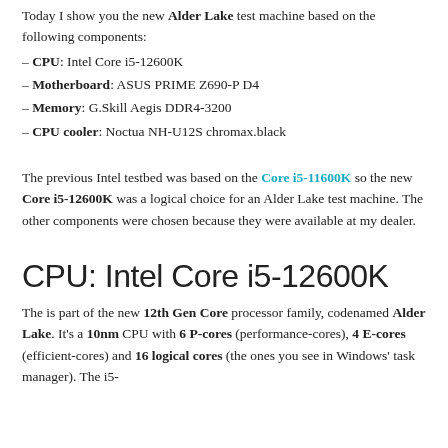Today I show you the new Alder Lake test machine based on the following components:
– CPU: Intel Core i5-12600K
– Motherboard: ASUS PRIME Z690-P D4
– Memory: G.Skill Aegis DDR4-3200
– CPU cooler: Noctua NH-U12S chromax.black
The previous Intel testbed was based on the Core i5-11600K so the new Core i5-12600K was a logical choice for an Alder Lake test machine. The other components were chosen because they were available at my dealer.
CPU: Intel Core i5-12600K
The is part of the new 12th Gen Core processor family, codenamed Alder Lake. It's a 10nm CPU with 6 P-cores (performance-cores), 4 E-cores (efficient-cores) and 16 logical cores (the ones you see in Windows' task manager). The i5-